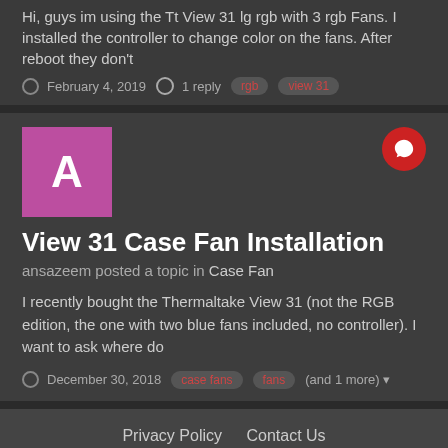Hi, guys im using the Tt View 31 lg rgb with 3 rgb Fans. I installed the controller to change color on the fans. After reboot they don't
February 4, 2019 · 1 reply · rgb · view 31
[Figure (illustration): Purple/pink square avatar with white letter A]
View 31 Case Fan Installation
ansazeem posted a topic in Case Fan
I recently bought the Thermaltake View 31 (not the RGB edition, the one with two blue fans included, no controller). I want to ask where do
December 30, 2018 · case fans · fans · (and 1 more)
Privacy Policy   Contact Us
Copyright © 2017 Thermaltake Technology Co., Ltd. All Rights Reserved. Powered by Invision Community